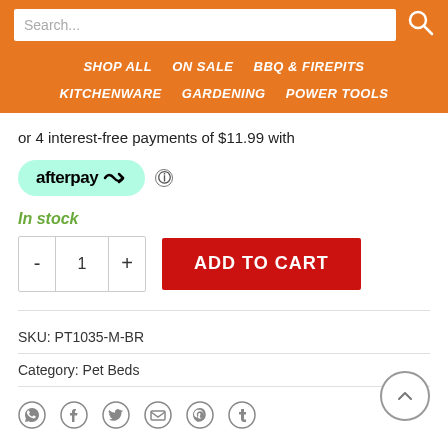SHOP ALL | ON SALE | BBQ & FIREPITS | KITCHENWARE | GARDENING | POWER TOOLS
or 4 interest-free payments of $11.99 with afterpay
In stock
ADD TO CART
SKU: PT1035-M-BR
Category: Pet Beds